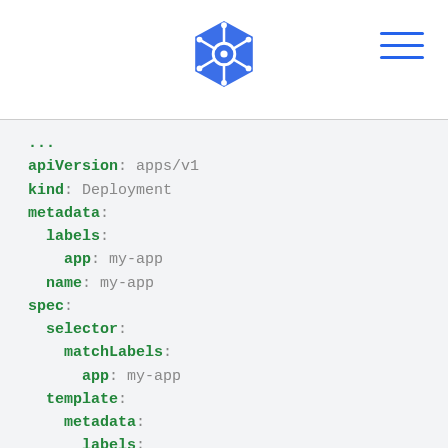Kubernetes logo and navigation
...
apiVersion: apps/v1
kind: Deployment
metadata:
  labels:
    app: my-app
  name: my-app
spec:
  selector:
    matchLabels:
      app: my-app
  template:
    metadata:
      labels:
        app: my-app
    spec:
      containers:
      - image: my-app